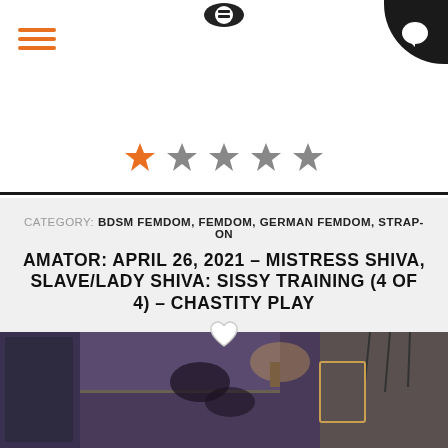Navigation menu icon and chat icon
[Figure (other): Star rating: 1 out of 5 stars (first star orange, remaining four stars gray)]
CATEGORY: BDSM FEMDOM, FEMDOM, GERMAN FEMDOM, STRAP-ON
AMATOR: APRIL 26, 2021 – MISTRESS SHIVA, SLAVE/LADY SHIVA: SISSY TRAINING (4 OF 4) – CHASTITY PLAY
[Figure (photo): Photograph of two people in a room with purple ambient lighting, shelves in background, and hanging items on the right side]